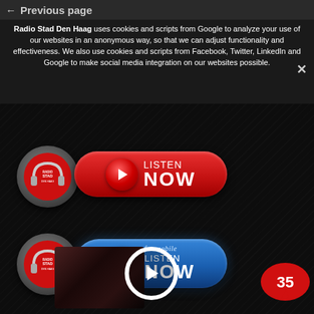← Previous page
Radio Stad Den Haag uses cookies and scripts from Google to analyze your use of our websites in an anonymous way, so that we can adjust functionality and effectiveness. We also use cookies and scripts from Facebook, Twitter, LinkedIn and Google to make social media integration on our websites possible.
[Figure (screenshot): Radio Stad Den Haag listen now button (red) with headphone logo and play icon]
[Figure (screenshot): Radio Stad Den Haag listen now for mobile button (blue) with headphone logo and play icon]
[Figure (screenshot): Video thumbnail with white play button circle overlay]
[Figure (infographic): Red speech bubble with number 35 indicating comments]